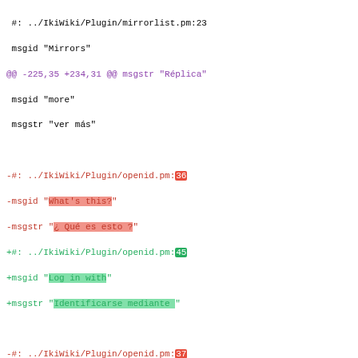#: ../IkiWiki/Plugin/mirrorlist.pm:23
 msgid "Mirrors"
@@ -225,35 +234,31 @@ msgstr "Réplica"
 msgid "more"
 msgstr "ver más"

-#: ../IkiWiki/Plugin/openid.pm:36
-msgid "What's this?"
-msgstr "¿ Qué es esto ?"
+#: ../IkiWiki/Plugin/openid.pm:45
+msgid "Log in with"
+msgstr "Identificarse mediante "

-#: ../IkiWiki/Plugin/openid.pm:37
+#: ../IkiWiki/Plugin/openid.pm:48
 msgid "Get an OpenID"
-msgstr "Obtenga un identificador OpenID"
+msgstr "Consiga un identificador OpenID"

 #: ../IkiWiki/Plugin/orphans.pm:42
 msgid "All pages are linked to by other pages."
 msgstr "Todas las páginas están referenciadas entre sí."

-#: ../IkiWiki/Plugin/passwordauth.pm:104
-msgid "(use FirstnameLastName)"
-msgstr "(utilice la forma NombreApellidos)"
-
-#: ../IkiWiki/Plugin/passwordauth.pm:144
+#: ../IkiWiki/Plugin/passwordauth.pm:162
 msgid "Account creation successful. Now you can Login."
 msgstr "Cuenta de usuario creada con éxito. Ahora puede ide